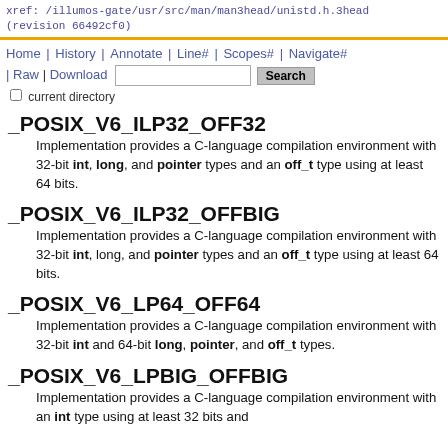xref: /illumos-gate/usr/src/man/man3head/unistd.h.3head
(revision 66492cf0)
Home | History | Annotate | Line# | Scopes# | Navigate#
| Raw | Download  [search box] Search
□ current directory
_POSIX_V6_ILP32_OFF32
Implementation provides a C-language compilation environment with 32-bit int, long, and pointer types and an off_t type using at least 64 bits.
_POSIX_V6_ILP32_OFFBIG
Implementation provides a C-language compilation environment with 32-bit int, long, and pointer types and an off_t type using at least 64 bits.
_POSIX_V6_LP64_OFF64
Implementation provides a C-language compilation environment with 32-bit int and 64-bit long, pointer, and off_t types.
_POSIX_V6_LPBIG_OFFBIG
Implementation provides a C-language compilation environment with an int type using at least 32 bits and